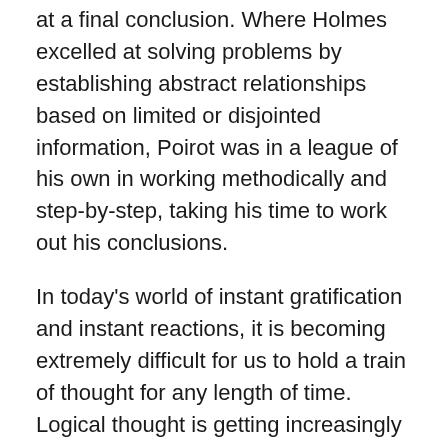at a final conclusion. Where Holmes excelled at solving problems by establishing abstract relationships based on limited or disjointed information, Poirot was in a league of his own in working methodically and step-by-step, taking his time to work out his conclusions.
In today's world of instant gratification and instant reactions, it is becoming extremely difficult for us to hold a train of thought for any length of time. Logical thought is getting increasingly beyond the grasp of people, fully evidenced in the mindless exchanges we witness so often on social media platforms as well as the lack of thought behind instant forwards on various messaging platforms.
Is the current generation more intelligent, or is it merely - and perhaps dangerously- over-dependent on use of technology to find answers? Would you like to find out if you are left with sufficient capacity to reason things out in a logical and systematic manner?